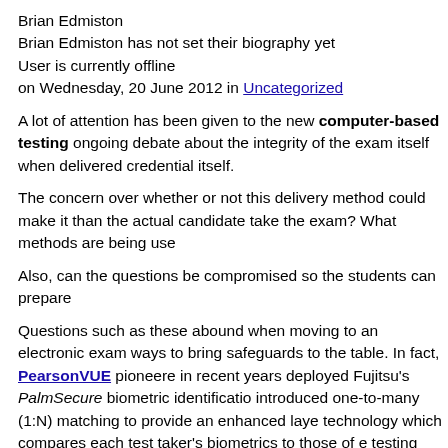Brian Edmiston
Brian Edmiston has not set their biography yet
User is currently offline
on Wednesday, 20 June 2012 in Uncategorized
A lot of attention has been given to the new computer-based testing ongoing debate about the integrity of the exam itself when delivered credential itself.
The concern over whether or not this delivery method could make it than the actual candidate take the exam? What methods are being use
Also, can the questions be compromised so the students can prepare
Questions such as these abound when moving to an electronic exam ways to bring safeguards to the table. In fact, PearsonVUE pioneere in recent years deployed Fujitsu's PalmSecure biometric identificatio introduced one-to-many (1:N) matching to provide an enhanced laye technology which compares each test taker's biometrics to those of e testing based on impersonation can be proactively eliminated before
While the move to a CBT format will obviously be a huge cost savin take these exams, there are increasing concerns about brain dumping (ISC)2 has done an excellent job against brain dumps to-date, by reti online format will degrade its value and relegate it to the level of oth